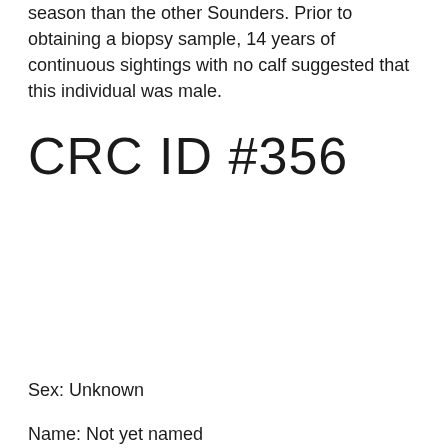season than the other Sounders. Prior to obtaining a biopsy sample, 14 years of continuous sightings with no calf suggested that this individual was male.
CRC ID #356
Sex: Unknown
Name: Not yet named